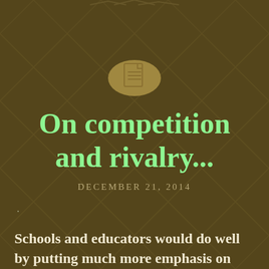[Figure (illustration): Document/page icon inside a golden circle, centered near top of page]
On competition and rivalry...
DECEMBER 21, 2014
Schools and educators would do well by putting much more emphasis on